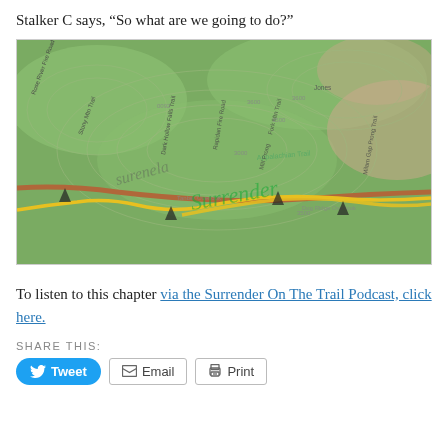Stalker C says, “So what are we going to do?”
[Figure (map): Topographic trail map showing hiking trails including the Appalachian Trail, Stony Mtn Trail, Mill Prong Trail, Rapidan Fire Road, Fork Mtn Trail, and other trails in a mountainous green landscape. Yellow and brown highlighted routes are visible.]
To listen to this chapter via the Surrender On The Trail Podcast, click here.
SHARE THIS:
Tweet   Email   Print